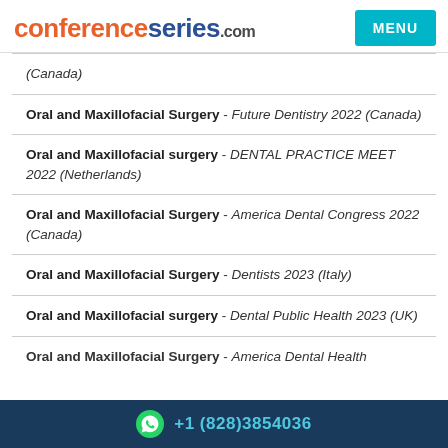conferenceseries.com | MENU
(Canada)
Oral and Maxillofacial Surgery - Future Dentistry 2022 (Canada)
Oral and Maxillofacial surgery - DENTAL PRACTICE MEET 2022 (Netherlands)
Oral and Maxillofacial Surgery - America Dental Congress 2022 (Canada)
Oral and Maxillofacial Surgery - Dentists 2023 (Italy)
Oral and Maxillofacial surgery - Dental Public Health 2023 (UK)
Oral and Maxillofacial Surgery - America Dental Health
+1 (828)3854036